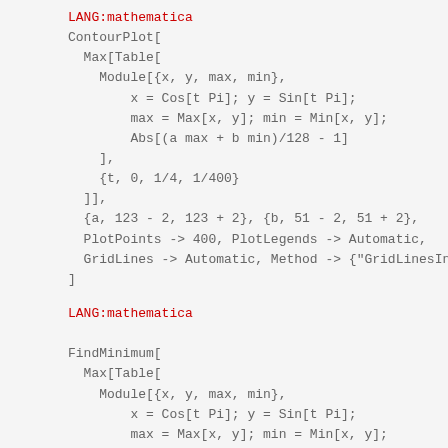LANG:mathematica
ContourPlot[
  Max[Table[
    Module[{x, y, max, min},
      x = Cos[t Pi]; y = Sin[t Pi];
      max = Max[x, y]; min = Min[x, y];
      Abs[(a max + b min)/128 - 1]
    ],
    {t, 0, 1/4, 1/400}
  ]],
  {a, 123 - 2, 123 + 2}, {b, 51 - 2, 51 + 2},
  PlotPoints -> 400, PlotLegends -> Automatic,
  GridLines -> Automatic, Method -> {"GridLinesInFr
]
LANG:mathematica

FindMinimum[
  Max[Table[
    Module[{x, y, max, min},
      x = Cos[t Pi]; y = Sin[t Pi];
      max = Max[x, y]; min = Min[x, y];
      Abs[(a max + b min)/128 - 1]
    ],
    {t, 0, 1/4, 1/400}